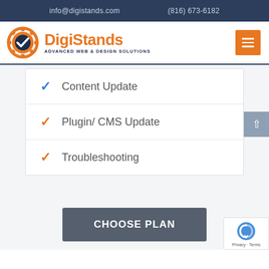info@digistands.com   (816) 673-6182
[Figure (logo): DigiStands logo with gear icon and checkmark, text reads DigiStands ADVANCED WEB & DESIGN SOLUTIONS]
✓ Content Update
✓ Plugin/ CMS Update
✓ Troubleshooting
CHOOSE PLAN